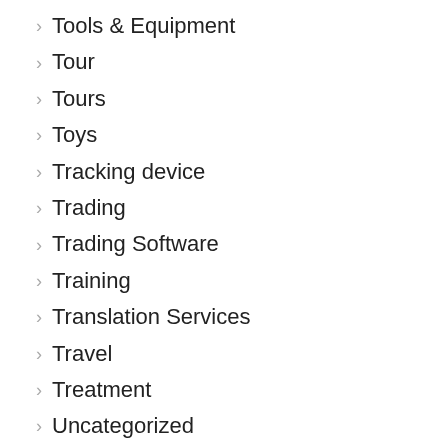Tools & Equipment
Tour
Tours
Toys
Tracking device
Trading
Trading Software
Training
Translation Services
Travel
Treatment
Uncategorized
Vacation
Varicose Vein Treatment
Vending Machines
Venues